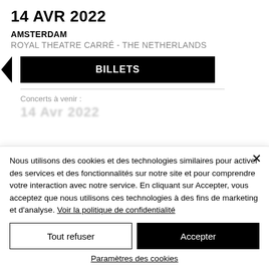14 AVR 2022
AMSTERDAM
ROYAL THEATRE CARRÉ - THE NETHERLANDS
[Figure (other): Black button with left-pointing arrow labeled BILLETS]
Concerts à venir :
Nous utilisons des cookies et des technologies similaires pour activer des services et des fonctionnalités sur notre site et pour comprendre votre interaction avec notre service. En cliquant sur Accepter, vous acceptez que nous utilisons ces technologies à des fins de marketing et d'analyse. Voir la politique de confidentialité
Tout refuser
Accepter
Paramètres des cookies